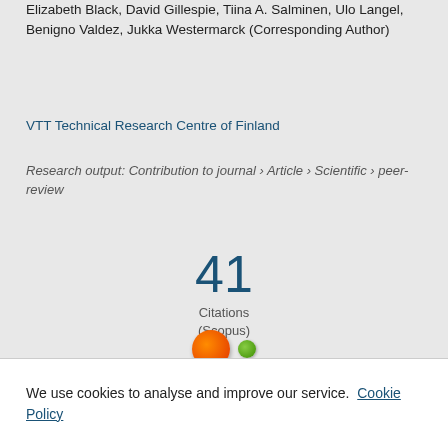Elizabeth Black, David Gillespie, Tiina A. Salminen, Ulo Langel, Benigno Valdez, Jukka Westermarck (Corresponding Author)
VTT Technical Research Centre of Finland
Research output: Contribution to journal › Article › Scientific › peer-review
41 Citations (Scopus)
[Figure (infographic): Two circles: a large orange circle and a smaller green circle side by side, representing some metric visualization]
We use cookies to analyse and improve our service. Cookie Policy